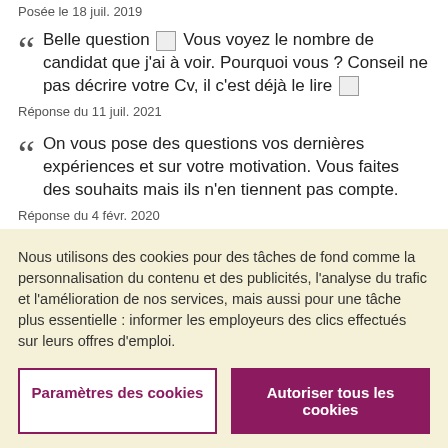Posée le 18 juil. 2019
Belle question ? Vous voyez le nombre de candidat que j'ai à voir. Pourquoi vous ? Conseil ne pas décrire votre Cv, il c'est déjà le lire ?
Réponse du 11 juil. 2021
On vous pose des questions vos dernières expériences et sur votre motivation. Vous faites des souhaits mais ils n'en tiennent pas compte.
Réponse du 4 févr. 2020
Nous utilisons des cookies pour des tâches de fond comme la personnalisation du contenu et des publicités, l'analyse du trafic et l'amélioration de nos services, mais aussi pour une tâche plus essentielle : informer les employeurs des clics effectués sur leurs offres d'emploi.
Paramètres des cookies
Autoriser tous les cookies